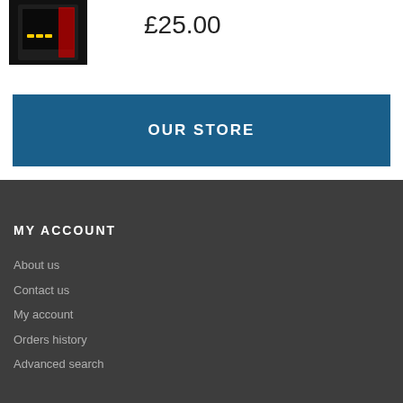[Figure (photo): Product image showing a dark container/bottle with a label]
£25.00
OUR STORE
MY ACCOUNT
About us
Contact us
My account
Orders history
Advanced search